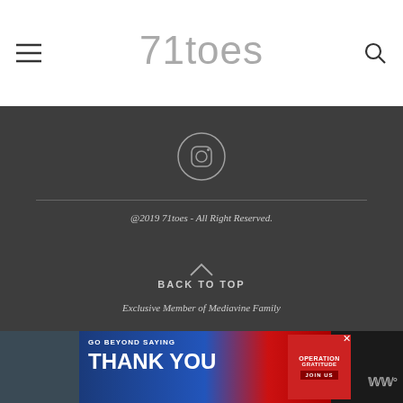71toes
[Figure (other): Instagram circle icon on dark footer background]
@2019 71toes - All Right Reserved.
BACK TO TOP
Exclusive Member of Mediavine Family
UA-15801285-2
[Figure (photo): Advertisement banner: Operation Gratitude - Go Beyond Saying Thank You - Join Us]
Exclusive Member of Mediavine Family